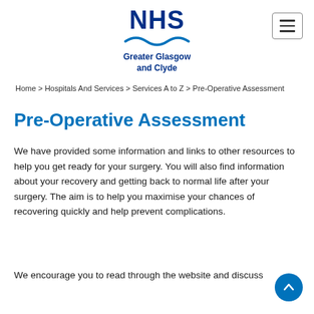[Figure (logo): NHS Greater Glasgow and Clyde logo with blue NHS text, wave graphic, and subtitle]
Home > Hospitals And Services > Services A to Z > Pre-Operative Assessment
Pre-Operative Assessment
We have provided some information and links to other resources to help you get ready for your surgery. You will also find information about your recovery and getting back to normal life after your surgery. The aim is to help you maximise your chances of recovering quickly and help prevent complications.
We encourage you to read through the website and discuss